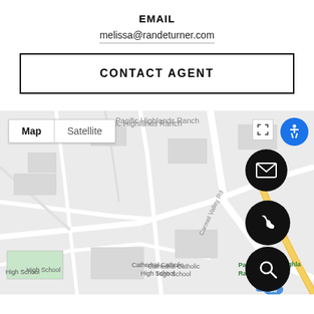EMAIL
melissa@randeturner.com
CONTACT AGENT
[Figure (map): Google Maps view centered on Pacific Highlands Ranch area, San Diego, showing Cathedral Catholic High School, Trader Joe's, Pacific Highlands Ranch, with map/satellite toggle, location pins, email icon, phone icon, search icon, and accessibility icon overlaid.]